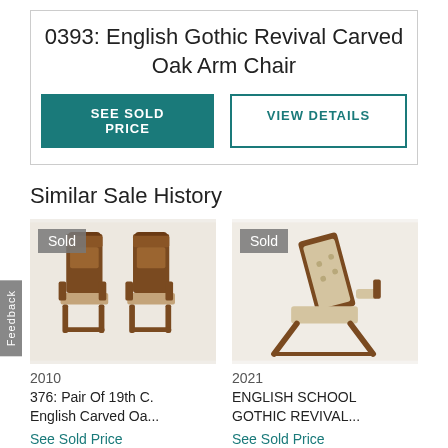0393: English Gothic Revival Carved Oak Arm Chair
SEE SOLD PRICE | VIEW DETAILS
Similar Sale History
[Figure (photo): Two antique 19th century English carved oak arm chairs with barley twist legs, shown side by side. 'Sold' badge overlay. Year: 2010. Title: 376: Pair Of 19th C. English Carved Oa...]
[Figure (photo): An antique English School Gothic Revival reclining arm chair with tufted upholstery and wooden frame. 'Sold' badge overlay. Year: 2021. Title: ENGLISH SCHOOL GOTHIC REVIVAL...]
2010
376: Pair Of 19th C. English Carved Oa...
See Sold Price
2021
ENGLISH SCHOOL GOTHIC REVIVAL...
See Sold Price